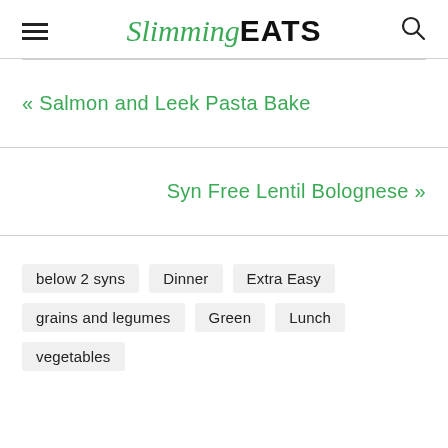Slimming EATS
« Salmon and Leek Pasta Bake
Syn Free Lentil Bolognese »
below 2 syns
Dinner
Extra Easy
grains and legumes
Green
Lunch
vegetables